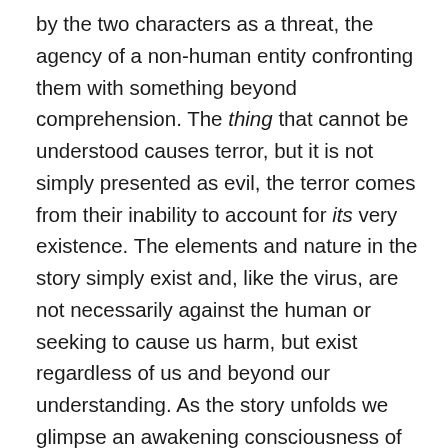by the two characters as a threat, the agency of a non-human entity confronting them with something beyond comprehension. The thing that cannot be understood causes terror, but it is not simply presented as evil, the terror comes from their inability to account for its very existence. The elements and nature in the story simply exist and, like the virus, are not necessarily against the human or seeking to cause us harm, but exist regardless of us and beyond our understanding. As the story unfolds we glimpse an awakening consciousness of a world where we are not at the centre. Attempting to navigate this experience, the characters move through a range of projections, still clinging to human-centric frameworks to make sense of the unknowable. They speak of the marsh as a sacred site haunted by old world gods, rationalising their experiences in any way they can before reaching a crisis point and confronting the revelation that